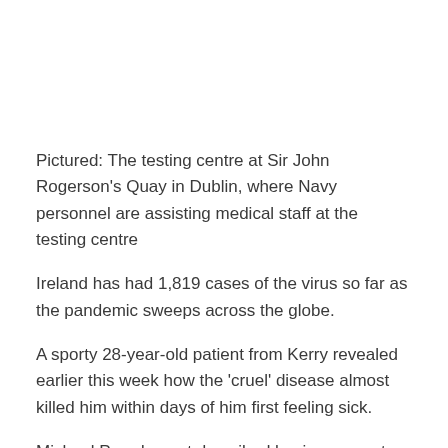Pictured: The testing centre at Sir John Rogerson’s Quay in Dublin, where Navy personnel are assisting medical staff at the testing centre
Ireland has had 1,819 cases of the virus so far as the pandemic sweeps across the globe.
A sporty 28-year-old patient from Kerry revealed earlier this week how the ‘cruel’ disease almost killed him within days of him first feeling sick.
Micheal Prendergast described having an acute shortness of breath, a sky-high temperature and convulsions which wracked